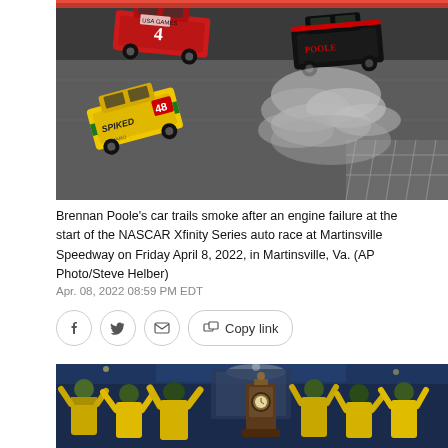[Figure (photo): Aerial view of NASCAR race cars on track at night. Brennan Poole's car trails smoke after engine failure. A yellow Spiked Camaro car is visible in lower left, a red car number 4 in upper left, and Poole's black car trailing smoke on the right.]
Brennan Poole's car trails smoke after an engine failure at the start of the NASCAR Xfinity Series auto race at Martinsville Speedway on Friday April 8, 2022, in Martinsville, Va. (AP Photo/Steve Helber)
Apr. 08, 2022 08:59 PM EDT
[Figure (photo): Celebration scene showing racing crew members in yellow and green jackets with caps raising arms in victory celebration, with a grandfather clock trophy visible in the center background.]